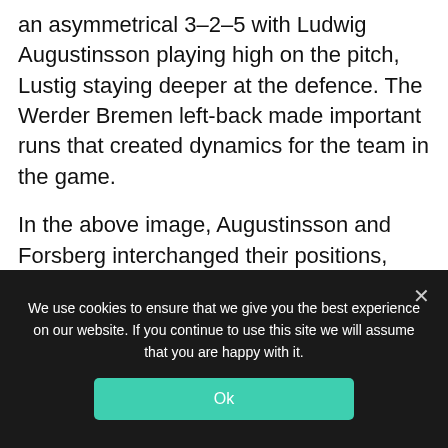an asymmetrical 3-2-5 with Ludwig Augustinsson playing high on the pitch, Lustig staying deeper at the defence. The Werder Bremen left-back made important runs that created dynamics for the team in the game.
In the above image, Augustinsson and Forsberg interchanged their positions, and the left-back was at the half-spaces, they were in a 2v2 situation against Ukraine's wing-back and wide centre-back.......
[Figure (screenshot): Football match screenshot showing SWE 1-1 UKR at 68:22, with УКРАИНА text visible on stadium branding]
We use cookies to ensure that we give you the best experience on our website. If you continue to use this site we will assume that you are happy with it.